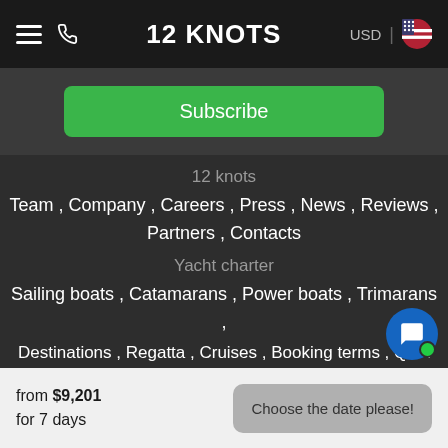12 KNOTS  USD
Subscribe
12 knots
Team , Company , Careers , Press , News , Reviews , Partners , Contacts
Yacht charter
Sailing boats , Catamarans , Power boats , Trimarans , Gulets , Houseboats , Booking terms , Q&A
Sailing school
Liveaboard couses , Shorebased courses ,
Seminars / Webinars , Useful tips , Books
from $9,201 for 7 days   Choose the date please!
Destinations , Regatta , Cruises , Booking terms , Q&A